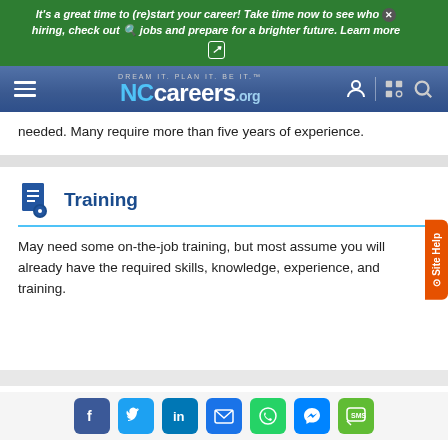It's a great time to (re)start your career! Take time now to see who's hiring, check out jobs and prepare for a brighter future. Learn more
[Figure (screenshot): NCcareers.org navigation bar with hamburger menu, logo, user icon, and search icon]
needed. Many require more than five years of experience.
Training
May need some on-the-job training, but most assume you will already have the required skills, knowledge, experience, and training.
[Figure (infographic): Social sharing icons: Facebook, Twitter, LinkedIn, Email, WhatsApp, Messenger, SMS]